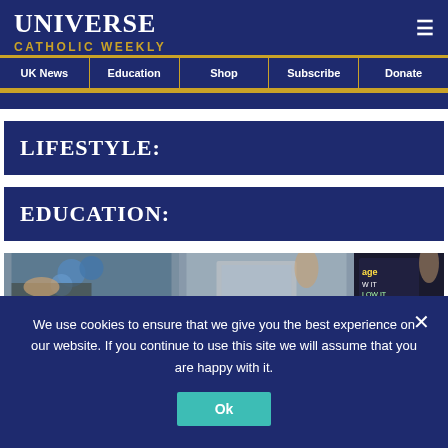UNIVERSE CATHOLIC WEEKLY
UK News | Education | Shop | Subscribe | Donate
LIFESTYLE:
EDUCATION:
[Figure (photo): Three-panel photo strip showing people at what appears to be an educational event with balloons and laptops]
We use cookies to ensure that we give you the best experience on our website. If you continue to use this site we will assume that you are happy with it.